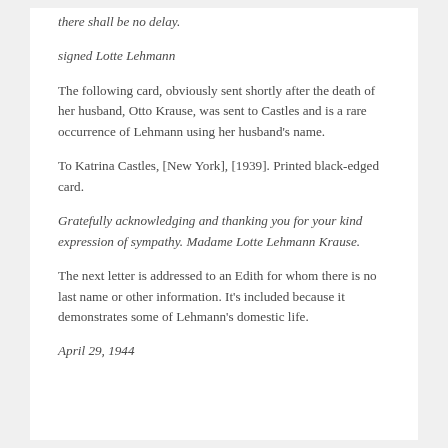there shall be no delay.
signed Lotte Lehmann
The following card, obviously sent shortly after the death of her husband, Otto Krause, was sent to Castles and is a rare occurrence of Lehmann using her husband's name.
To Katrina Castles, [New York], [1939]. Printed black-edged card.
Gratefully acknowledging and thanking you for your kind expression of sympathy. Madame Lotte Lehmann Krause.
The next letter is addressed to an Edith for whom there is no last name or other information. It's included because it demonstrates some of Lehmann's domestic life.
April 29, 1944